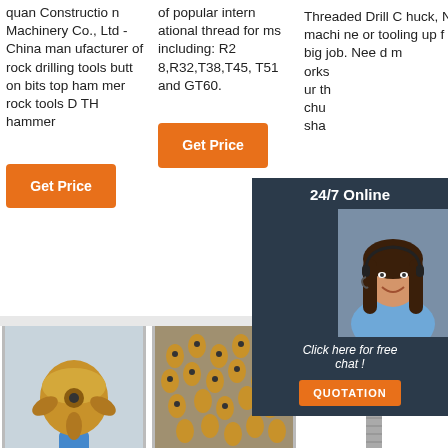quan Construction Machinery Co., Ltd - China manufacturer of rock drilling tools butt on bits top hammer rock tools DTH hammer
of popular international thread forms including: R28,R32,T38,T45, T51 and GT60.
Threaded Drill Chuck, New machine or tooling up for a big job. Need m orks ur th chu sha
[Figure (screenshot): 24/7 Online chat popup with photo of woman wearing headset, 'Click here for free chat!' text and QUOTATION button]
[Figure (photo): Photo of a golden/copper PDC drill bit]
[Figure (photo): Photo of multiple small drill bits arranged on a surface]
[Figure (logo): TOP logo with dots arranged in triangle shape above text, and a drill bit shank below]